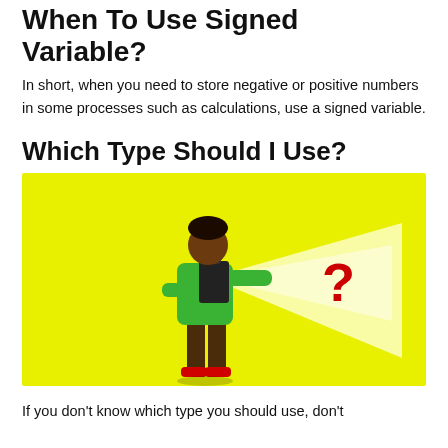When To Use Signed Variable?
In short, when you need to store negative or positive numbers in some processes such as calculations, use a signed variable.
Which Type Should I Use?
[Figure (illustration): Illustration of a person in a green top holding a dark clipboard/folder, with a beam of light pointing at a red question mark, on a bright yellow background.]
If you don't know which type you should use, don't